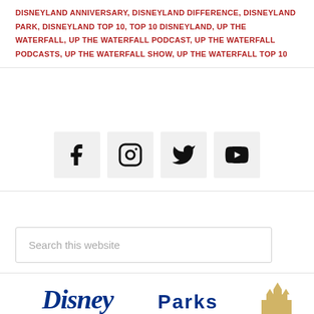DISNEYLAND ANNIVERSARY, DISNEYLAND DIFFERENCE, DISNEYLAND PARK, DISNEYLAND TOP 10, TOP 10 DISNEYLAND, UP THE WATERFALL, UP THE WATERFALL PODCAST, UP THE WATERFALL PODCASTS, UP THE WATERFALL SHOW, UP THE WATERFALL TOP 10
[Figure (other): Social media icons: Facebook, Instagram, Twitter, YouTube in light gray square boxes]
Search this website
[Figure (logo): Disney Parks logo with castle illustration in the background]